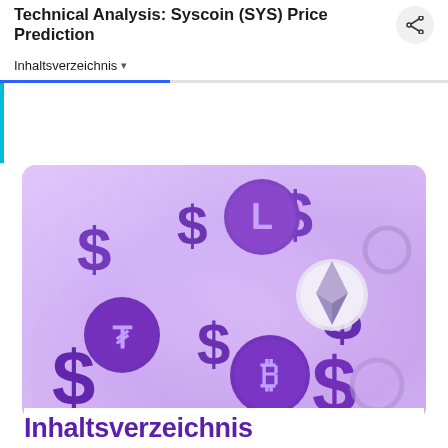Technical Analysis: Syscoin (SYS) Price Prediction
Inhaltsverzeichnis
[Figure (illustration): 3D illustration of various cryptocurrency coins and dollar signs in purple tones on a light purple gradient background, including Bitcoin, Ethereum, Litecoin, and Tether symbols]
Inhaltsverzeichnis